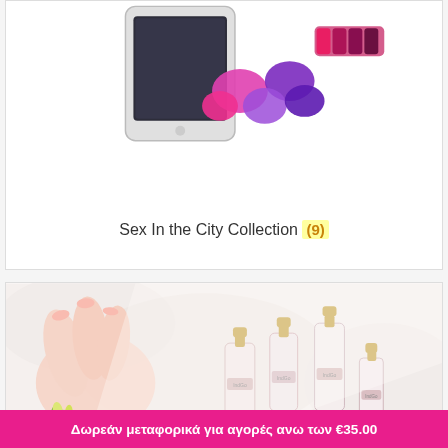[Figure (photo): Top card showing beauty/makeup sponges and a smartphone — product category image for Sex In the City Collection]
Sex In the City Collection (9)
[Figure (photo): Bottom card showing a woman's manicured hands alongside nail polish bottles with gold caps on a white fur background, with green flowers]
Δωρεάν μεταφορικά για αγορές ανω των €35.00